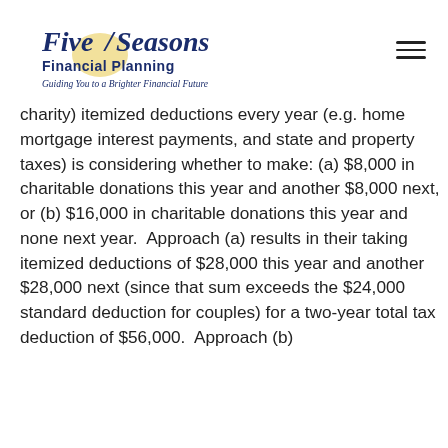Five Seasons Financial Planning — Guiding You to a Brighter Financial Future
charity) itemized deductions every year (e.g. home mortgage interest payments, and state and property taxes) is considering whether to make: (a) $8,000 in charitable donations this year and another $8,000 next, or (b) $16,000 in charitable donations this year and none next year. Approach (a) results in their taking itemized deductions of $28,000 this year and another $28,000 next (since that sum exceeds the $24,000 standard deduction for couples) for a two-year total tax deduction of $56,000. Approach (b)